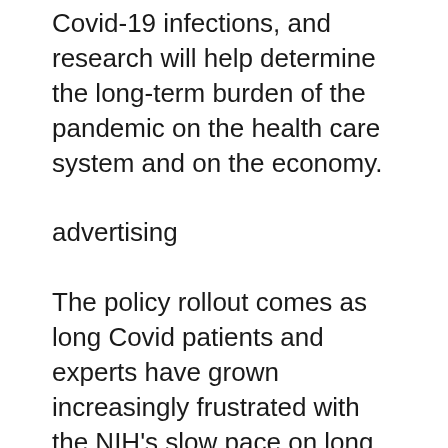Covid-19 infections, and research will help determine the long-term burden of the pandemic on the health care system and on the economy.
advertising
The policy rollout comes as long Covid patients and experts have grown increasingly frustrated with the NIH's slow pace on long Covid research, as STAT reported last week. The biggest NIH study had only enrolled 3% of its recruitment goal as of March 18, more than a year after the agency received $1.2 billion for the effort.
The administration said it will “accelerate the enrollment” of the NIH study, which is in its...